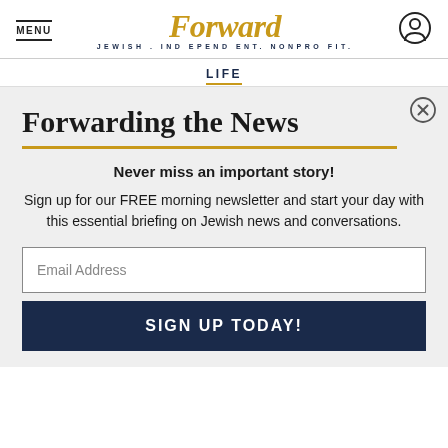MENU | Forward — JEWISH. INDEPENDENT. NONPROFIT.
LIFE
Forwarding the News
Never miss an important story!
Sign up for our FREE morning newsletter and start your day with this essential briefing on Jewish news and conversations.
Email Address
SIGN UP TODAY!